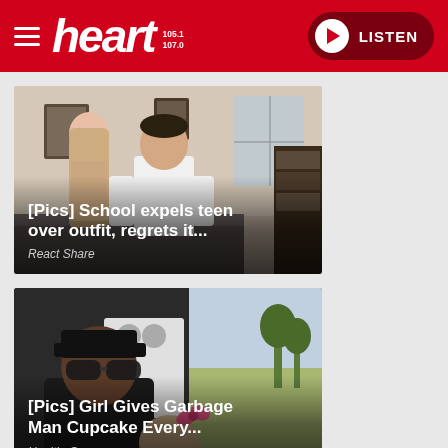heart 105.1 107.0 | LISTEN
[Figure (photo): A teenage girl and an adult man posing indoors in a living room setting. Article card with headline over the image.]
[Pics] School expels teen over outfit, regrets it...
React Share
[Figure (photo): A man wearing sunglasses and a black cap, with a young girl with a pink bow, outdoors. Article card with headline over the image.]
[Pics] Girl Gives Garbage Man Cupcake Every...
HealthyGem